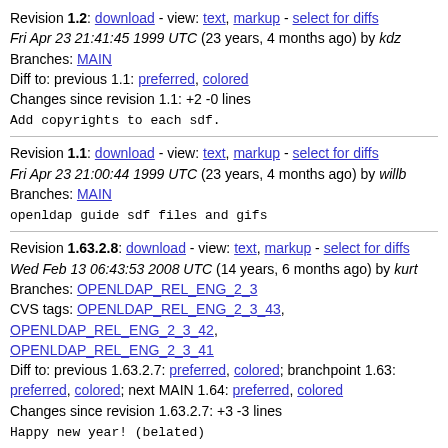Revision 1.2: download - view: text, markup - select for diffs
Fri Apr 23 21:41:45 1999 UTC (23 years, 4 months ago) by kdz
Branches: MAIN
Diff to: previous 1.1: preferred, colored
Changes since revision 1.1: +2 -0 lines

Add copyrights to each sdf.
Revision 1.1: download - view: text, markup - select for diffs
Fri Apr 23 21:00:44 1999 UTC (23 years, 4 months ago) by willb
Branches: MAIN

openldap guide sdf files and gifs
Revision 1.63.2.8: download - view: text, markup - select for diffs
Wed Feb 13 06:43:53 2008 UTC (14 years, 6 months ago) by kurt
Branches: OPENLDAP_REL_ENG_2_3
CVS tags: OPENLDAP_REL_ENG_2_3_43, OPENLDAP_REL_ENG_2_3_42, OPENLDAP_REL_ENG_2_3_41
Diff to: previous 1.63.2.7: preferred, colored; branchpoint 1.63: preferred, colored; next MAIN 1.64: preferred, colored
Changes since revision 1.63.2.7: +3 -3 lines

Happy new year! (belated)